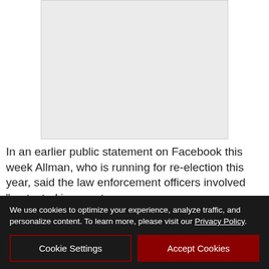[Figure (other): Light gray image placeholder rectangle]
In an earlier public statement on Facebook this week Allman, who is running for re-election this year, said the law enforcement officers involved “protected innocent
We use cookies to optimize your experience, analyze traffic, and personalize content. To learn more, please visit our Privacy Policy.
Cookie Settings
Accept Cookies